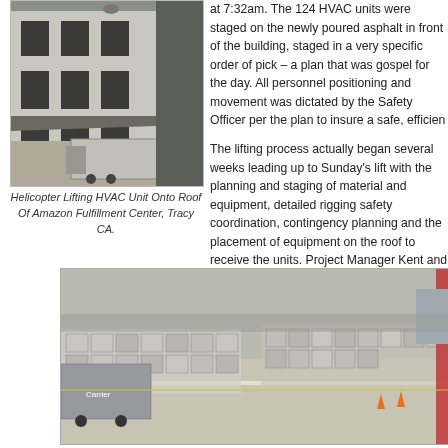[Figure (photo): Helicopter lifting HVAC unit onto roof of Amazon Fulfillment Center, Tracy CA. Photo shows large warehouse building exterior with loading docks and a semi-truck trailer in the parking lot.]
Helicopter Lifting HVAC Unit Onto Roof Of Amazon Fulfillment Center, Tracy CA.
at 7:32am. The 124 HVAC units were staged on the newly poured asphalt in front of the building, staged in a very specific order of pick – a plan that was gospel for the day. All personnel positioning and movement was dictated by the Safety Officer per the plan to insure a safe, efficient operation.
The lifting process actually began several weeks leading up to Sunday's lift with the planning and staging of material and equipment, detailed rigging safety coordination, contingency planning and the placement of equipment on the roof to receive the units. Project Manager Kent and Anthony Vallejos and su hundreds of hours developing the plan so that there was nothing left to cha
.
The 1967 Vietnam-era “Hue
[Figure (photo): Aerial or ground-level photo showing many HVAC units staged in a row on pavement, with trucks and equipment visible, at Amazon Fulfillment Center Tracy CA.]